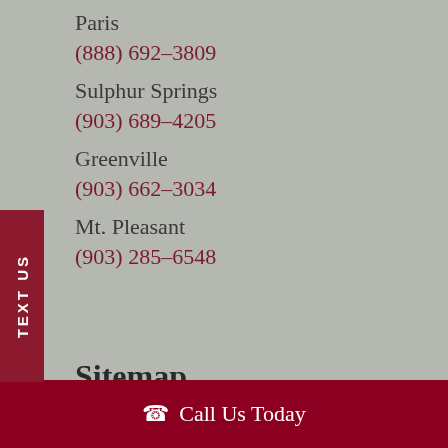Paris
(888) 692–3809
Sulphur Springs
(903) 689–4205
Greenville
(903) 662–3034
Mt. Pleasant
(903) 285–6548
Sitemap
About Us
Find Hearing Aids
Call Us Today